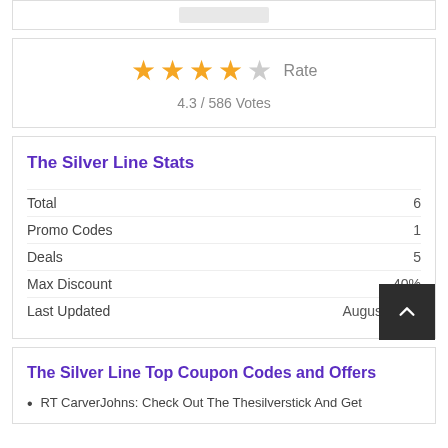[Figure (other): Partial top box with a gray image/thumbnail placeholder]
[Figure (other): Star rating widget showing 4 filled gold stars and 1 empty gray star, with 'Rate' label and '4.3 / 586 Votes' below]
The Silver Line Stats
|  |  |
| --- | --- |
| Total | 6 |
| Promo Codes | 1 |
| Deals | 5 |
| Max Discount | 40% |
| Last Updated | August 2022 |
The Silver Line Top Coupon Codes and Offers
RT CarverJohns: Check Out The Thesilverstick And Get